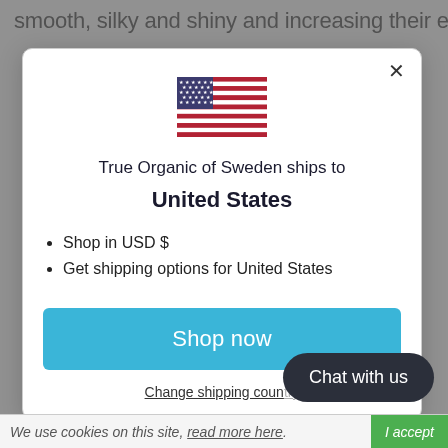smooth, silky and shiny and increasing their elasticity. It
[Figure (screenshot): Popup modal showing US flag, 'True Organic of Sweden ships to United States', bullet points for USD and shipping, Shop now button, Change shipping country link, Chat with us button, and cookie bar at bottom.]
True Organic of Sweden ships to United States
Shop in USD $
Get shipping options for United States
Shop now
Change shipping coun...
Chat with us
We use cookies on this site, read more here. I accept